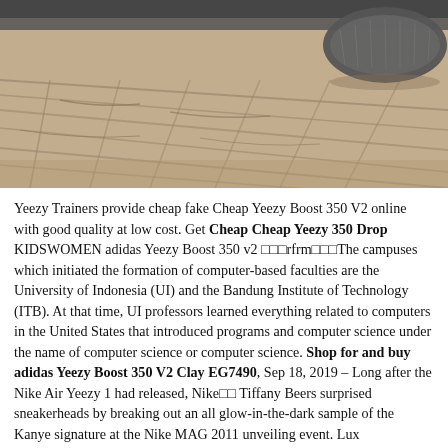[Figure (photo): Close-up photo of a sneaker sole on a paved brick/stone surface, shot from a low angle. The shoe appears grey/dark colored with textured sole.]
Yeezy Trainers provide cheap fake Cheap Yeezy Boost 350 V2 online with good quality at low cost. Get Cheap Cheap Yeezy 350 Drop KIDSWOMEN adidas Yeezy Boost 350 v2 □□□rfrm□□□The campuses which initiated the formation of computer-based faculties are the University of Indonesia (UI) and the Bandung Institute of Technology (ITB). At that time, UI professors learned everything related to computers in the United States that introduced programs and computer science under the name of computer science or computer science. Shop for and buy adidas Yeezy Boost 350 V2 Clay EG7490, Sep 18, 2019 – Long after the Nike Air Yeezy 1 had released, Nike□□ Tiffany Beers surprised sneakerheads by breaking out an all glow-in-the-dark sample of the Kanye signature at the Nike MAG 2011 unveiling event. Lux